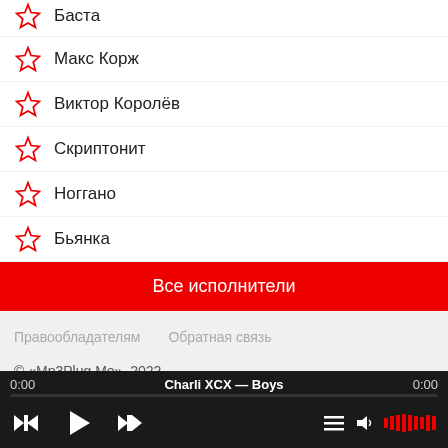Баста
Макс Корж
Виктор Королёв
Скриптонит
Ноггано
Бьянка
Все исполнители
Правообладателям   Обратная связь
© «Mp3Plug.Me», 2022
0:00   Charli XCX — Boys   0:00